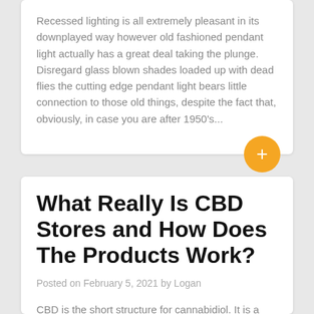Recessed lighting is all extremely pleasant in its downplayed way however old fashioned pendant light actually has a great deal taking the plunge. Disregard glass blown shades loaded up with dead flies the cutting edge pendant light bears little connection to those old things, despite the fact that, obviously, in case you are after 1950's...
What Really Is CBD Stores and How Does The Products Work?
Posted on February 5, 2021 by Logan
CBD is the short structure for cannabidiol. It is a